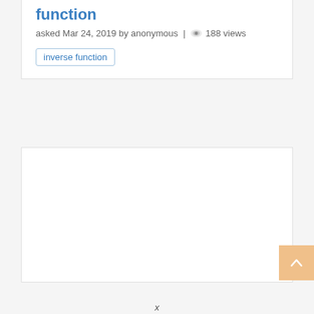function
asked Mar 24, 2019 by anonymous | 188 views
inverse function
x